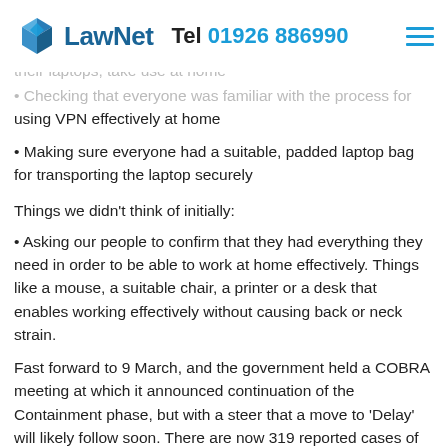LawNet   Tel 01926 886990
their laptops, take use at home
Checking that everyone was familiar with the process for using VPN effectively at home
Making sure everyone had a suitable, padded laptop bag for transporting the laptop securely
Things we didn't think of initially:
Asking our people to confirm that they had everything they need in order to be able to work at home effectively. Things like a mouse, a suitable chair, a printer or a desk that enables working effectively without causing back or neck strain.
Fast forward to 9 March, and the government held a COBRA meeting at which it announced continuation of the Containment phase, but with a steer that a move to 'Delay' will likely follow soon. There are now 319 reported cases of